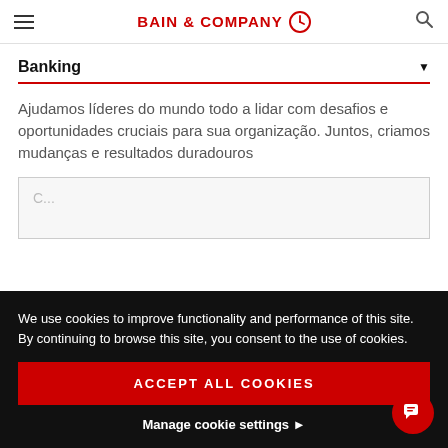BAIN & COMPANY
Banking
Ajudamos líderes do mundo todo a lidar com desafios e oportunidades cruciais para sua organização. Juntos, criamos mudanças e resultados duradouros
We use cookies to improve functionality and performance of this site. By continuing to browse this site, you consent to the use of cookies.
ACCEPT ALL COOKIES
Manage cookie settings ▶